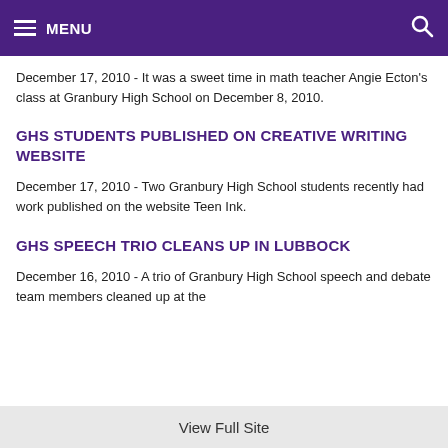MENU
December 17, 2010 - It was a sweet time in math teacher Angie Ecton's class at Granbury High School on December 8, 2010.
GHS STUDENTS PUBLISHED ON CREATIVE WRITING WEBSITE
December 17, 2010 - Two Granbury High School students recently had work published on the website Teen Ink.
GHS SPEECH TRIO CLEANS UP IN LUBBOCK
December 16, 2010 - A trio of Granbury High School speech and debate team members cleaned up at the
View Full Site